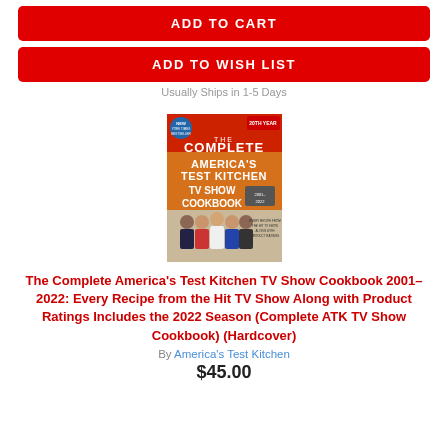[Figure (other): Red ADD TO CART button]
[Figure (other): Red ADD TO WISH LIST button]
Usually Ships in 1-5 Days
[Figure (photo): Book cover of The Complete America's Test Kitchen TV Show Cookbook 2001-2022 showing the title text over an orange/red background with a group photo of TV show hosts]
The Complete America's Test Kitchen TV Show Cookbook 2001–2022: Every Recipe from the Hit TV Show Along with Product Ratings Includes the 2022 Season (Complete ATK TV Show Cookbook) (Hardcover)
By America's Test Kitchen
$45.00